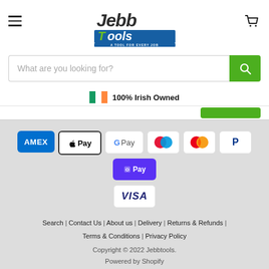[Figure (logo): Jebb Tools logo with tagline 'A TOOL FOR EVERY JOB']
What are you looking for?
🇮🇪 100% Irish Owned
[Figure (infographic): Payment icons: AMEX, Apple Pay, Google Pay, Maestro, Mastercard, PayPal, Shopify Pay, VISA]
Search | Contact Us | About us | Delivery | Returns & Refunds | Terms & Conditions | Privacy Policy
Copyright © 2022 Jebbtools.
Powered by Shopify